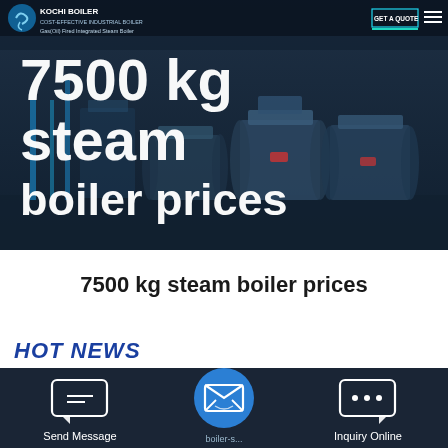[Figure (photo): Hero banner with industrial steam boiler equipment in background, dark blue overlay, company logo and navigation at top]
7500 kg steam boiler prices
7500 kg steam boiler prices
HOT NEWS
[Figure (screenshot): Pink/purple Save Stickers on WhatsApp notification banner overlay]
[Figure (infographic): Bottom navigation bar with Send Message icon (left), circular email/message floating button (center), Inquiry Online icon (right)]